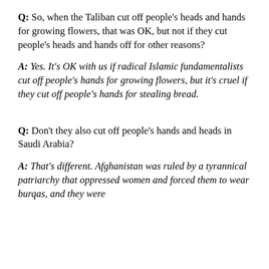Q: So, when the Taliban cut off people's heads and hands for growing flowers, that was OK, but not if they cut people's heads and hands off for other reasons?
A: Yes. It's OK with us if radical Islamic fundamentalists cut off people's hands for growing flowers, but it's cruel if they cut off people's hands for stealing bread.
Q: Don't they also cut off people's hands and heads in Saudi Arabia?
A: That's different. Afghanistan was ruled by a tyrannical patriarchy that oppressed women and forced them to wear burqas, and they were...